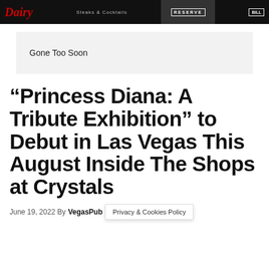[Figure (photo): Dark advertisement banner for a steakhouse restaurant with red script logo, text 'Steaks & Cocktails', and a RESERVE button on right side.]
Gone Too Soon
“Princess Diana: A Tribute Exhibition” to Debut in Las Vegas This August Inside The Shops at Crystals
June 19, 2022 By VegasPub… Privacy & Cookies Policy